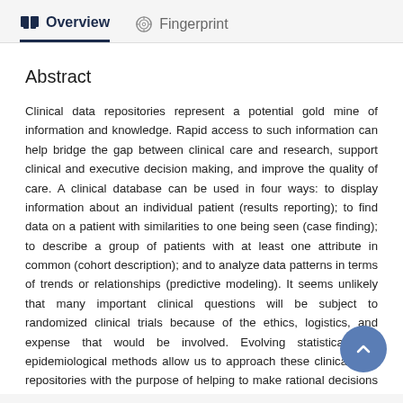Overview   Fingerprint
Abstract
Clinical data repositories represent a potential gold mine of information and knowledge. Rapid access to such information can help bridge the gap between clinical care and research, support clinical and executive decision making, and improve the quality of care. A clinical database can be used in four ways: to display information about an individual patient (results reporting); to find data on a patient with similarities to one being seen (case finding); to describe a group of patients with at least one attribute in common (cohort description); and to analyze data patterns in terms of trends or relationships (predictive modeling). It seems unlikely that many important clinical questions will be subject to randomized clinical trials because of the ethics, logistics, and expense that would be involved. Evolving statistical and epidemiological methods allow us to approach these clinical data repositories with the purpose of helping to make rational decisions for the care of the